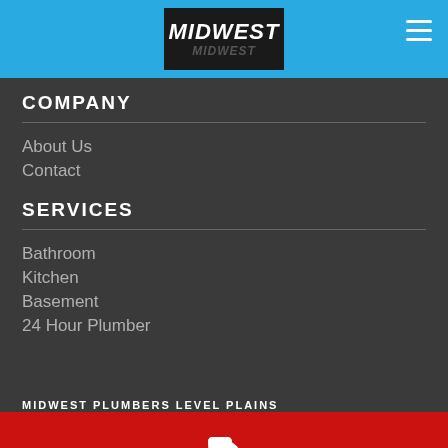MIDWEST (logo)
COMPANY
About Us
Contact
SERVICES
Bathroom
Kitchen
Basement
24 Hour Plumber
MIDWEST PLUMBERS LEVEL PLAINS
[Figure (illustration): White phone handset icon on red background bar at bottom of page]